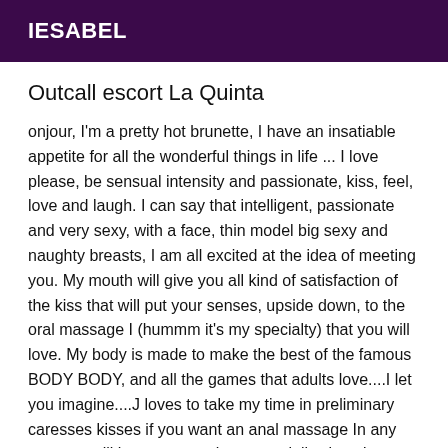IESABEL
Outcall escort La Quinta
onjour, I'm a pretty hot brunette, I have an insatiable appetite for all the wonderful things in life ... I love please, be sensual intensity and passionate, kiss, feel, love and laugh. I can say that intelligent, passionate and very sexy, with a face, thin model big sexy and naughty breasts, I am all excited at the idea of meeting you. My mouth will give you all kind of satisfaction of the kiss that will put your senses, upside down, to the oral massage I (hummm it's my specialty) that you will love. My body is made to make the best of the famous BODY BODY, and all the games that adults love....I let you imagine....J loves to take my time in preliminary caresses kisses if you want an anal massage In any case we will have a great time especially since I am the woman in the pictures so no surprise at the opening of the door. I receive private apartment el All is said (well almost...) if